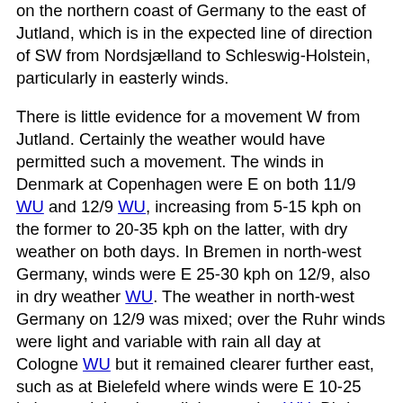on the northern coast of Germany to the east of Jutland, which is in the expected line of direction of SW from Nordsjælland to Schleswig-Holstein, particularly in easterly winds.
There is little evidence for a movement W from Jutland. Certainly the weather would have permitted such a movement. The winds in Denmark at Copenhagen were E on both 11/9 WU and 12/9 WU, increasing from 5-15 kph on the former to 20-35 kph on the latter, with dry weather on both days. In Bremen in north-west Germany, winds were E 25-30 kph on 12/9, also in dry weather WU. The weather in north-west Germany on 12/9 was mixed; over the Ruhr winds were light and variable with rain all day at Cologne WU but it remained clearer further east, such as at Bielefeld where winds were E 10-25 kph, remaining dry until the evening WU. Birds drifted due W would run into rain as they approached the Benelux border. Maps for 11th-13th on rather limited data on Trektellen show small numbers (13 birds) travelling SW from northern Germany on the eastern